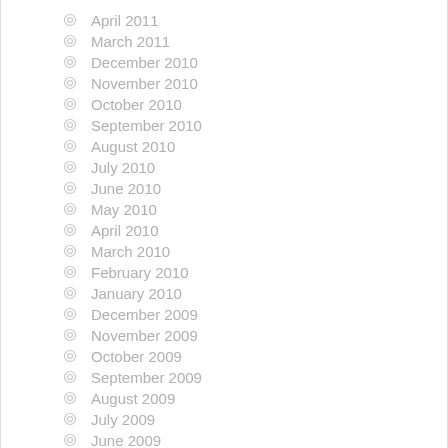April 2011
March 2011
December 2010
November 2010
October 2010
September 2010
August 2010
July 2010
June 2010
May 2010
April 2010
March 2010
February 2010
January 2010
December 2009
November 2009
October 2009
September 2009
August 2009
July 2009
June 2009